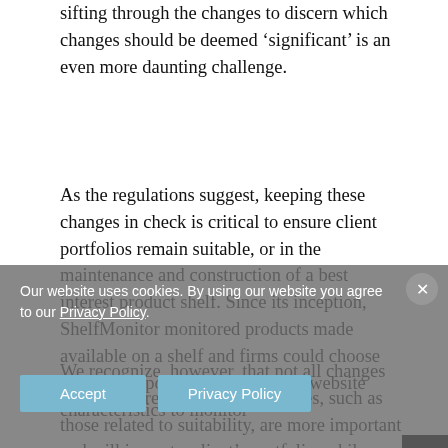sifting through the changes to discern which changes should be deemed ‘significant’ is an even more daunting challenge.
As the regulations suggest, keeping these changes in check is critical to ensure client portfolios remain suitable, or in the maintenance and construction of a best interest product shelf. Since its inception, ShelfMonitor monitored products made available on a shelf and firms could choose which data points—By using our website characteristics to monitor
We recognize, however, that not all changes on a shelf are equal. Some changes, such as those related to suitability, are more important and will impact a client’s portfolio, while other changes are less important and, in many